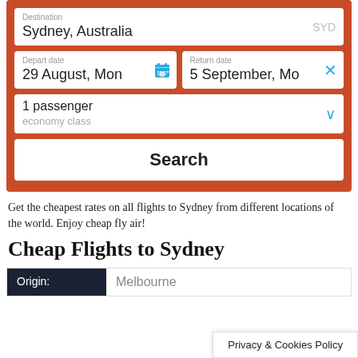[Figure (screenshot): Flight search form with destination Sydney, Australia (SYD), depart date 29 August Mon, return date 5 September Mon, 1 passenger economy class, and a Search button. Red/orange background.]
Get the cheapest rates on all flights to Sydney from different locations of the world. Enjoy cheap fly air!
Cheap Flights to Sydney
| Origin: |
| --- |
| Melbourne |
Privacy & Cookies Policy